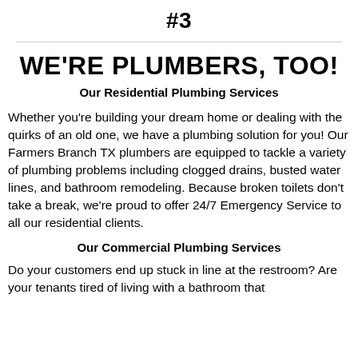#3
WE'RE PLUMBERS, TOO!
Our Residential Plumbing Services
Whether you're building your dream home or dealing with the quirks of an old one, we have a plumbing solution for you! Our Farmers Branch TX plumbers are equipped to tackle a variety of plumbing problems including clogged drains, busted water lines, and bathroom remodeling. Because broken toilets don't take a break, we're proud to offer 24/7 Emergency Service to all our residential clients.
Our Commercial Plumbing Services
Do your customers end up stuck in line at the restroom? Are your tenants tired of living with a bathroom that